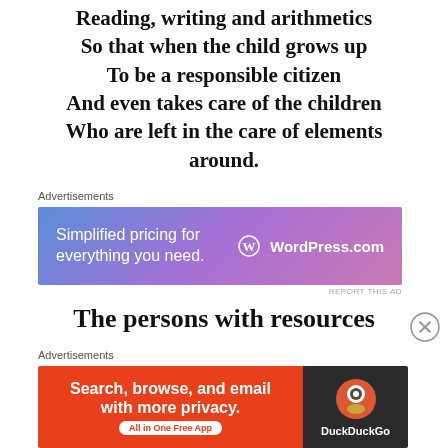Reading, writing and arithmetics
So that when the child grows up
To be a responsible citizen
And even takes care of the children
Who are left in the care of elements around.
[Figure (infographic): WordPress.com advertisement banner with gradient blue-purple background. Text: 'Simplified pricing for everything you need.' with WordPress.com logo.]
REPORT THIS AD
The persons with resources
[Figure (infographic): DuckDuckGo advertisement banner. Left side red background: 'Search, browse, and email with more privacy. All in One Free App'. Right side dark background with DuckDuckGo logo.]
REPORT THIS AD